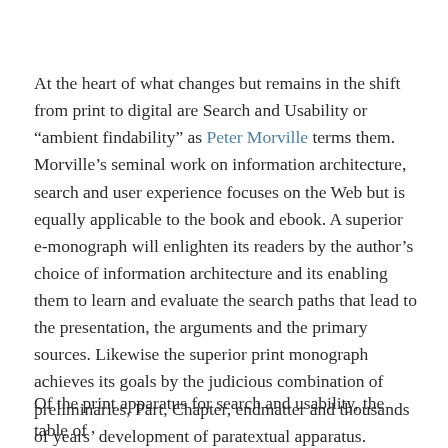At the heart of what changes but remains in the shift from print to digital are Search and Usability or “ambient findability” as Peter Morville terms them. Morville’s seminal work on information architecture, search and user experience focuses on the Web but is equally applicable to the book and ebook. A superior e-monograph will enlighten its readers by the author’s choice of information architecture and its enabling them to learn and evaluate the search paths that lead to the presentation, the arguments and the primary sources. Likewise the superior print monograph achieves its goals by the judicious combination of preliminaries, Part, Chapter, endmatter and thousands of years’ development of paratextual apparatus.
Of the print apparatus for search and usability, the table of